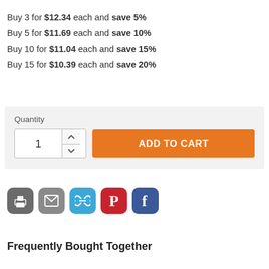Buy 3 for $12.34 each and save 5%
Buy 5 for $11.69 each and save 10%
Buy 10 for $11.04 each and save 15%
Buy 15 for $10.39 each and save 20%
Quantity
1
ADD TO CART
[Figure (infographic): Social sharing icons: print (gray), email (gray), link (blue), Pinterest (red), Facebook (blue)]
Frequently Bought Together